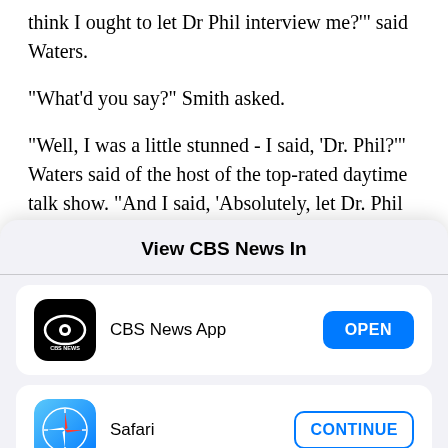think I ought to let Dr Phil interview me?" said Waters.
"What'd you say?" Smith asked.
"Well, I was a little stunned - I said, 'Dr. Phil?'" Waters said of the host of the top-rated daytime talk show. "And I said, 'Absolutely, let Dr. Phil interview you.'"
As the week passed, the search for Michelle Warner
View CBS News In
CBS News App
Safari